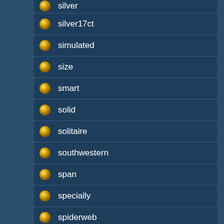silver17ct
simulated
size
smart
solid
solitaire
southwestern
span
specially
spiderweb
square
stainless
starburst
start